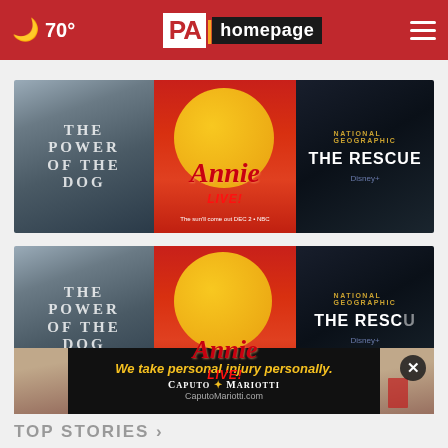🌙 70° — PA Homepage
[Figure (screenshot): Three movie/show posters side by side: 'The Power of the Dog', 'Annie Live!' on NBC, and 'The Rescue' on Disney+]
[Figure (screenshot): Same three movie/show posters repeated below with a close (X) button overlay: 'The Power of the Dog', 'Annie Live!', and 'The Rescue']
[Figure (infographic): Advertisement banner: 'We take personal injury personally.' Caputo Mariotti law firm. CaputoMariotti.com]
TOP STORIES >